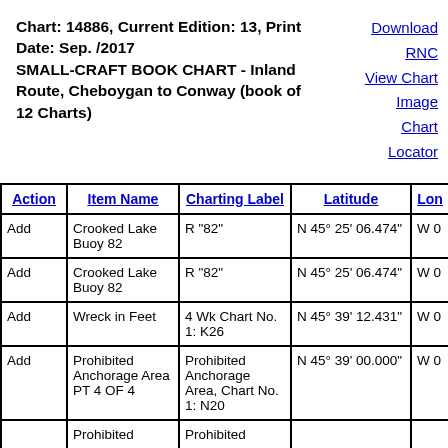Chart: 14886, Current Edition: 13, Print Date: Sep. /2017 SMALL-CRAFT BOOK CHART - Inland Route, Cheboygan to Conway (book of 12 Charts)
Download RNC
View Chart Image
Chart Locator
| Action | Item Name | Charting Label | Latitude | Lon |
| --- | --- | --- | --- | --- |
| Add | Crooked Lake Buoy 82 | R "82" | N 45° 25' 06.474" | W 0 |
| Add | Crooked Lake Buoy 82 | R "82" | N 45° 25' 06.474" | W 0 |
| Add | Wreck in Feet | 4 Wk Chart No. 1: K26 | N 45° 39' 12.431" | W 0 |
| Add | Prohibited Anchorage Area PT 4 OF 4 | Prohibited Anchorage Area, Chart No. 1: N20 | N 45° 39' 00.000" | W 0 |
|  | Prohibited | Prohibited |  |  |